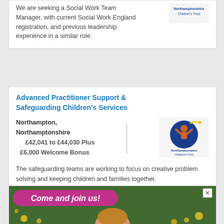We are seeking a Social Work Team Manager, with current Social Work England registration, and previous leadership experience in a similar role.
Advanced Practitioner Support & Safeguarding Children's Services
Northampton, Northamptonshire £42,041 to £44,030 Plus £6,000 Welcome Bonus
[Figure (logo): Northamptonshire Children's Trust logo — orange child figure with arms raised, on dark blue circular background, with text 'Northamptonshire Children's Trust']
The safeguarding teams are working to focus on creative problem solving and keeping children and families together.
[Figure (photo): Advertisement banner showing a child lying in grass with yellow flowers. Text overlay: 'Come and join us!' in pink/magenta italic font on a pink pill-shaped background. Close button (X) in top-right corner.]